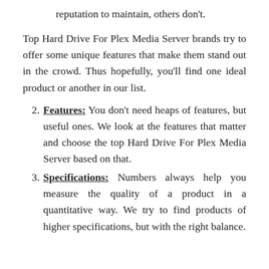reputation to maintain, others don't.
Top Hard Drive For Plex Media Server brands try to offer some unique features that make them stand out in the crowd. Thus hopefully, you'll find one ideal product or another in our list.
2. Features: You don't need heaps of features, but useful ones. We look at the features that matter and choose the top Hard Drive For Plex Media Server based on that.
3. Specifications: Numbers always help you measure the quality of a product in a quantitative way. We try to find products of higher specifications, but with the right balance.